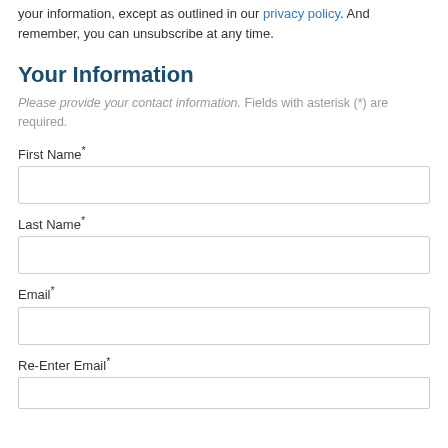your information, except as outlined in our privacy policy. And remember, you can unsubscribe at any time.
Your Information
Please provide your contact information. Fields with asterisk (*) are required.
First Name*
Last Name*
Email*
Re-Enter Email*